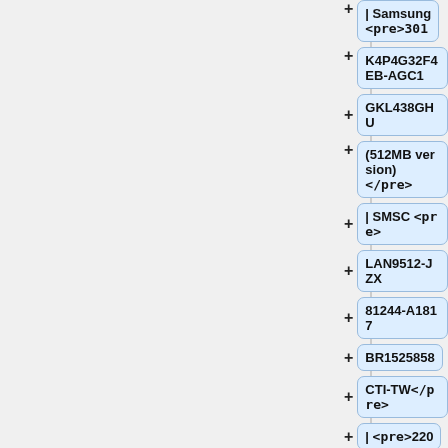+ | Samsung <pre>301
+ K4P4G32F4EB-AGC1
+ GKL438GHU
+ (512MB version) </pre>
+ | SMSC <pre>
+ LAN9512-JZX
+ 81244-A1817
+ BR1525858
+ CTI-TW</pre>
+ | <pre>220
+ CFP
+ 28D</pre>